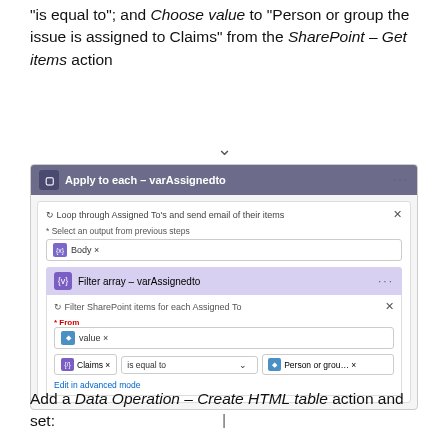“is equal to”; and Choose value to “Person or group the issue is assigned to Claims” from the SharePoint – Get items action
[Figure (screenshot): A Power Automate flow screenshot showing: Apply to each - varAssignedto block with a Loop through subaction and Body tag; then Filter array - varAssignedto block with Filter SharePoint items subaction, From: value tag, Claims is equal to Person or grou... tags, and Edit in advanced mode link]
Add a Data Operation – Create HTML table action and set: